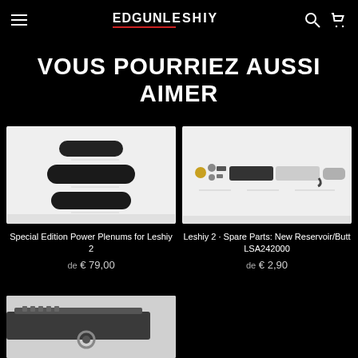EDGUNLESHIY (navigation header with hamburger menu, logo, search and cart icons)
VOUS POURRIEZ AUSSI AIMER
[Figure (photo): Product photo of Special Edition Power Plenums for Leshiy 2 — three black cylindrical suppressors of different lengths on white background]
Special Edition Power Plenums for Leshiy 2
de € 79,00
[Figure (photo): Product photo of Leshiy 2 Spare Parts: New Reservoir/Butt LSA242000 — exploded parts diagram on white background]
Leshiy 2 · Spare Parts: New Reservoir/Butt LSA242000
de € 2,90
[Figure (photo): Partial product photo showing dark firearm/rifle accessory on white background (third product card, partially visible)]